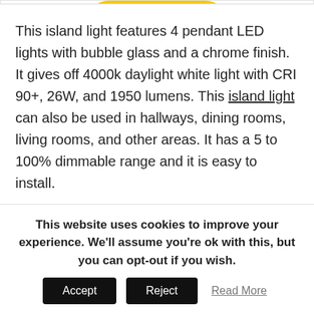[Figure (illustration): Partial view of a yellow rounded pill/oval shape (LED island light product image) on white background]
This island light features 4 pendant LED lights with bubble glass and a chrome finish. It gives off 4000k daylight white light with CRI 90+, 26W, and 1950 lumens. This island light can also be used in hallways, dining rooms, living rooms, and other areas. It has a 5 to 100% dimmable range and it is easy to install.
This website uses cookies to improve your experience. We'll assume you're ok with this, but you can opt-out if you wish.
Accept  Reject  Read More